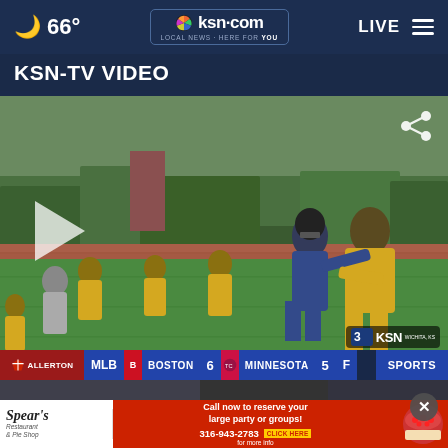🌙 66° | ksn.com LOCAL NEWS · HERE FOR YOU | LIVE ≡
KSN-TV Video
[Figure (screenshot): Video player showing youth football players in yellow uniforms practicing on a green field, with a play button overlay and share icon. KSN channel 3 watermark visible. Sports ticker at bottom showing MLB: BOSTON 6 MINNESOTA 5 F.]
[Figure (screenshot): Advertisement banner for Spear's Restaurant & Pie Shop: 'Call now to reserve your large party or groups! 316-943-2783 CLICK HERE for more info']